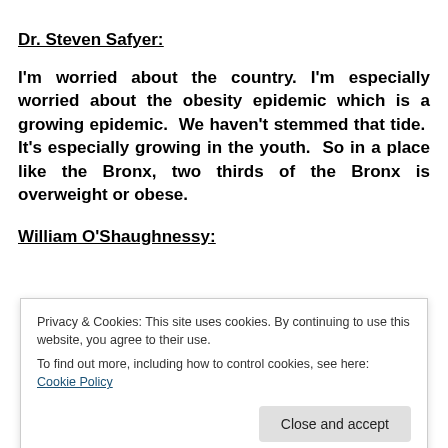Dr. Steven Safyer:
I'm worried about the country. I'm especially worried about the obesity epidemic which is a growing epidemic.   We haven't stemmed that tide.   It's especially growing in the youth.  So in a place like the Bronx, two thirds of the Bronx is overweight or obese.
William O'Shaughnessy:
Privacy & Cookies: This site uses cookies. By continuing to use this website, you agree to their use.
To find out more, including how to control cookies, see here: Cookie Policy